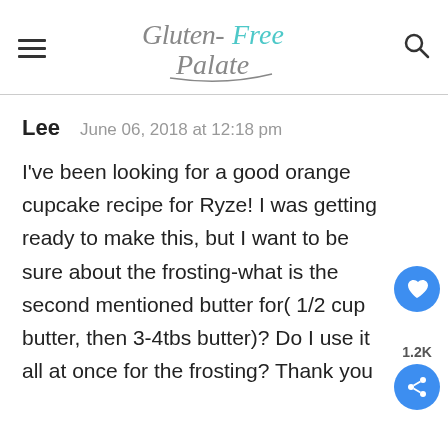Gluten-Free Palate
Lee   June 06, 2018 at 12:18 pm

I've been looking for a good orange cupcake recipe for Ryze! I was getting ready to make this, but I want to be sure about the frosting-what is the second mentioned butter for( 1/2 cup butter, then 3-4tbs butter)? Do I use it all at once for the frosting? Thank you